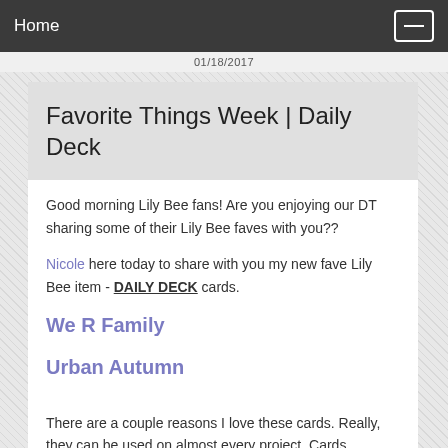Home
01/18/2017
Favorite Things Week | Daily Deck
Good morning Lily Bee fans! Are you enjoying our DT sharing some of their Lily Bee faves with you??
Nicole here today to share with you my new fave Lily Bee item - DAILY DECK cards.
We R Family
Urban Autumn
There are a couple reasons I love these cards. Really, they can be used on almost every project. Cards, Layouts, PL spreads and more. I love that they are double sided, and I love that there is a good variety of pattern and also some